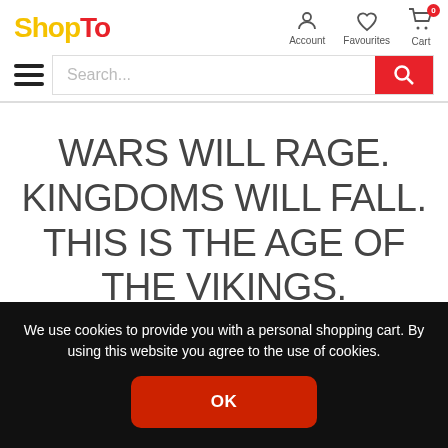[Figure (logo): ShopTo logo with 'Shop' in yellow/gold and 'To' in red]
[Figure (infographic): Navigation icons: person icon (Account), heart icon (Favourites), shopping cart with badge 0 (Cart)]
[Figure (infographic): Hamburger menu icon (three horizontal lines) and search bar with red search button]
WARS WILL RAGE. KINGDOMS WILL FALL. THIS IS THE AGE OF THE VIKINGS.
We use cookies to provide you with a personal shopping cart. By using this website you agree to the use of cookies.